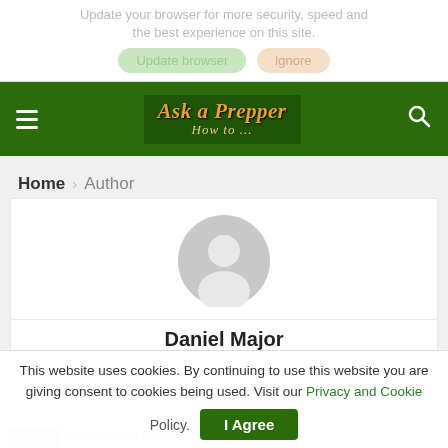Update your browser for more security, speed and the best experience on this site.
Update browser   Ignore
[Figure (screenshot): Ask a Prepper website navigation header with green background, hamburger menu on left, site logo 'Ask a Prepper How to...' in center, search icon on right]
Home › Author
[Figure (illustration): Generic user avatar placeholder — grey circle with silhouette person icon]
Daniel Major
This website uses cookies. By continuing to use this website you are giving consent to cookies being used. Visit our Privacy and Cookie Policy.
I Agree
How to Avoid Being Targeted by